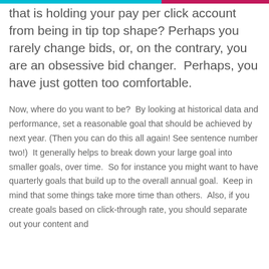that is holding your pay per click account from being in tip top shape? Perhaps you rarely change bids, or, on the contrary, you are an obsessive bid changer.  Perhaps, you have just gotten too comfortable.
Now, where do you want to be?  By looking at historical data and performance, set a reasonable goal that should be achieved by next year. (Then you can do this all again! See sentence number two!)  It generally helps to break down your large goal into smaller goals, over time.  So for instance you might want to have quarterly goals that build up to the overall annual goal.  Keep in mind that some things take more time than others.  Also, if you create goals based on click-through rate, you should separate out your content and